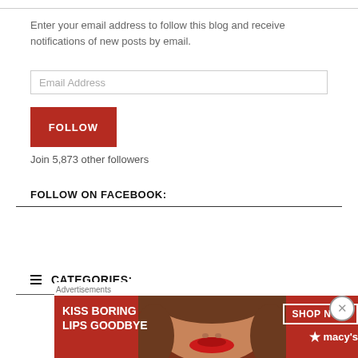Enter your email address to follow this blog and receive notifications of new posts by email.
Email Address
FOLLOW
Join 5,873 other followers
FOLLOW ON FACEBOOK:
≡ CATEGORIES:
[Figure (screenshot): Advertisement banner for Macy's lipstick: 'KISS BORING LIPS GOODBYE' with SHOP NOW button and Macy's star logo, featuring a woman's face with red lips.]